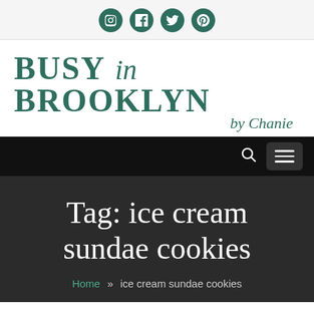[Figure (other): Social media icons row: Instagram, Facebook, Twitter, Pinterest — dark green circles]
BUSY in BROOKLYN by Chanie
Navigation bar with search icon and hamburger menu button
Tag: ice cream sundae cookies
Home » ice cream sundae cookies